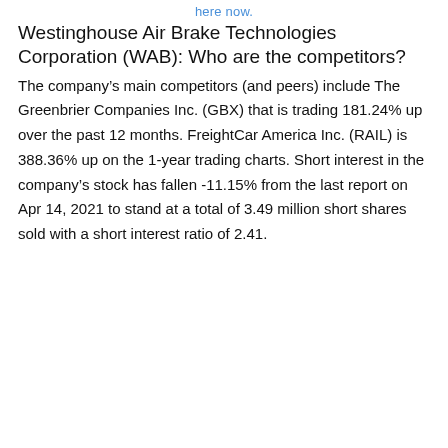here now.
Westinghouse Air Brake Technologies Corporation (WAB): Who are the competitors?
The company’s main competitors (and peers) include The Greenbrier Companies Inc. (GBX) that is trading 181.24% up over the past 12 months. FreightCar America Inc. (RAIL) is 388.36% up on the 1-year trading charts. Short interest in the company’s stock has fallen -11.15% from the last report on Apr 14, 2021 to stand at a total of 3.49 million short shares sold with a short interest ratio of 2.41.